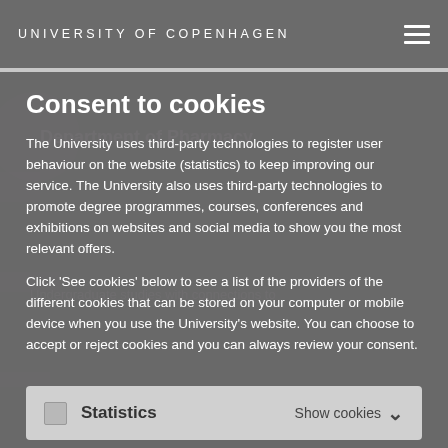UNIVERSITY OF COPENHAGEN
Consent to cookies
The University uses third-party technologies to register user behaviour on the website (statistics) to keep improving our service. The University also uses third-party technologies to promote degree programmes, courses, conferences and exhibitions on websites and social media to show you the most relevant offers.
Click 'See cookies' below to see a list of the providers of the different cookies that can be stored on your computer or mobile device when you use the University's website. You can choose to accept or reject cookies and you can always review your consent.
Statistics    Show cookies